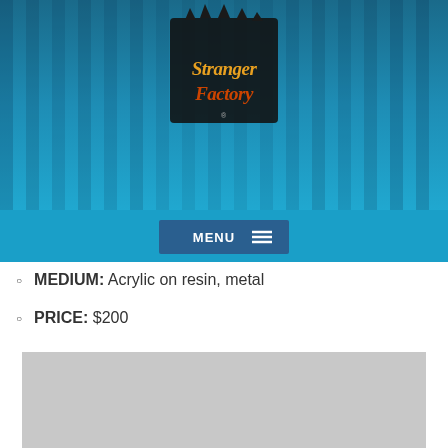[Figure (logo): Stranger Factory logo — stylized text with crown and industrial/gothic design on blue striped background]
MENU ☰
MEDIUM: Acrylic on resin, metal
PRICE: $200
[Figure (photo): Blue resin/acrylic sculptural figure — small creature with two dark eyes and horizontal stripe details, photographed against light grey background]